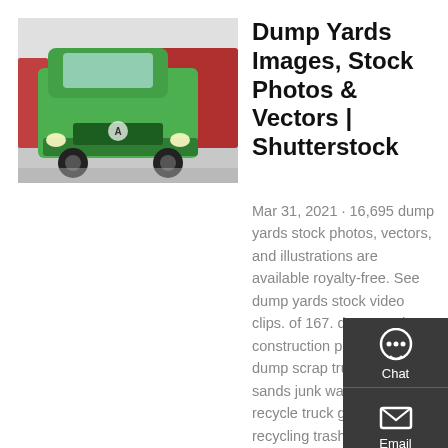[Figure (photo): A green heavy-duty dump truck parked in a warehouse/showroom with red trucks visible behind it.]
Dump Yards Images, Stock Photos & Vectors | Shutterstock
Mar 31, 2021 · 16,695 dump yards stock photos, vectors, and illustrations are available royalty-free. See dump yards stock video clips. of 167. dump truck construction plastic waste dump scrap truck truck with sands junk waste rubbish recycle truck garbage truck recycling trash dump garbage dump dumping truck. Try these curated
[Figure (infographic): Dark sidebar widget with Chat, Email, Contact, and Top navigation icons.]